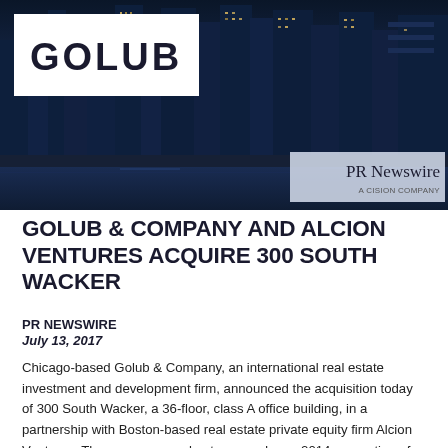[Figure (photo): Header banner showing nighttime cityscape of skyscrapers with Golub logo in white box top-left, hamburger menu icon top-right, and PR Newswire branding bottom-right on a translucent grey panel]
GOLUB & COMPANY AND ALCION VENTURES ACQUIRE 300 SOUTH WACKER
PR NEWSWIRE
July 13, 2017
Chicago-based Golub & Company, an international real estate investment and development firm, announced the acquisition today of 300 South Wacker, a 36-floor, class A office building, in a partnership with Boston-based real estate private equity firm Alcion Ventures. The new owners plan to expand on a 2014 renovation of the building with a focus on tenant experience and amenities.
"The owners of South Wacker have committed from the outset to...